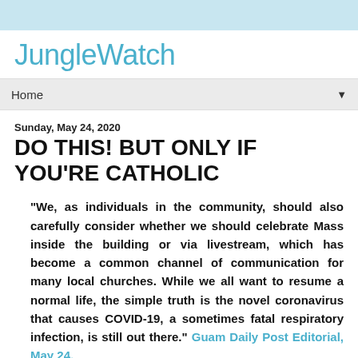JungleWatch
Home
Sunday, May 24, 2020
DO THIS! BUT ONLY IF YOU'RE CATHOLIC
"We, as individuals in the community, should also carefully consider whether we should celebrate Mass inside the building or via livestream, which has become a common channel of communication for many local churches. While we all want to resume a normal life, the simple truth is the novel coronavirus that causes COVID-19, a sometimes fatal respiratory infection, is still out there." Guam Daily Post Editorial, May 24,